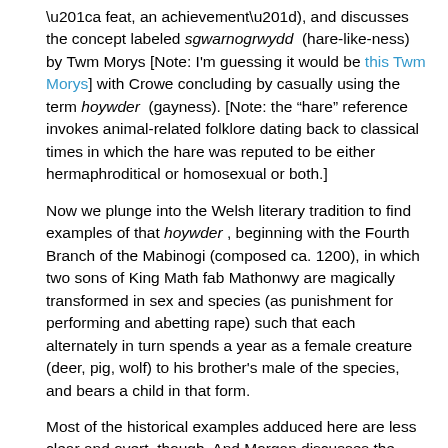“a feat, an achievement”), and discusses the concept labeled sgwarnogrwydd (hare-like-ness) by Twm Morys [Note: I’m guessing it would be this Twm Morys] with Crowe concluding by casually using the term hoywder (gayness). [Note: the “hare” reference invokes animal-related folklore dating back to classical times in which the hare was reputed to be either hermaphroditical or homosexual or both.]
Now we plunge into the Welsh literary tradition to find examples of that hoywder, beginning with the Fourth Branch of the Mabinogi (composed ca. 1200), in which two sons of King Math fab Mathonwy are magically transformed in sex and species (as punishment for performing and abetting rape) such that each alternately in turn spends a year as a female creature (deer, pig, wolf) to his brother’s male of the species, and bears a child in that form.
Most of the historical examples adduced here are less clear and overt, though. And Morgan discusses the necessary inclusion of possibilities, rather than certainties--a “queer historical touch” as discussed by Carolyn Dinshaw, to find connection in the past. For that, it is necessary to discard presumptive heterosexuality and to give potential queer readings of the material an equal standing